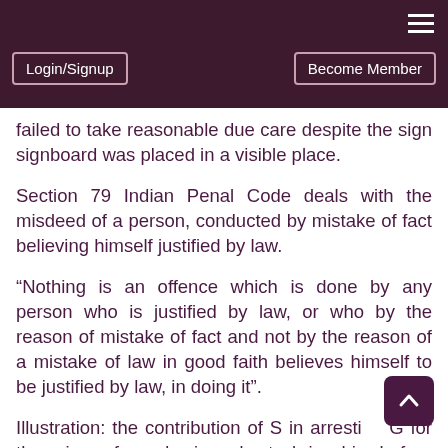Login/Signup   Become Member
failed to take reasonable due care despite the sign signboard was placed in a visible place.
Section 79 Indian Penal Code deals with the misdeed of a person, conducted by mistake of fact believing himself justified by law.
“Nothing is an offence which is done by any person who is justified by law, or who by the reason of mistake of fact and not by the reason of a mistake of law in good faith believes himself to be justified by law, in doing it”.
Illustration: the contribution of S in arresting G for the crime of murder in order to bring him before the proper authorities, when G